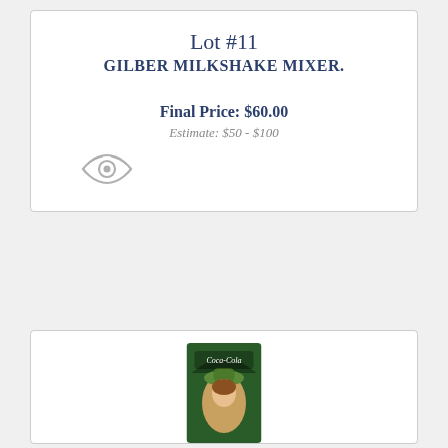Lot #11
GILBER MILKSHAKE MIXER.
Final Price: $60.00
Estimate: $50 - $100
[Figure (illustration): Eye/view icon in light gray]
[Figure (photo): Partial Coca-Cola vintage advertisement showing a woman in a hat]